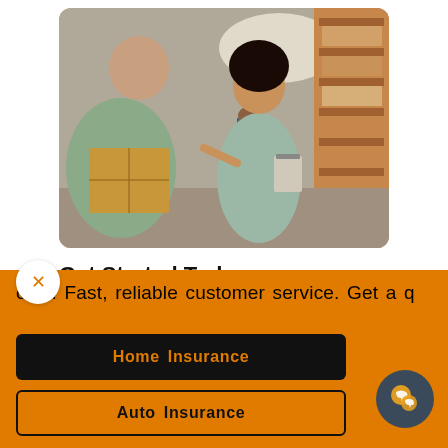[Figure (photo): Two people in a warehouse setting — a person carrying a cardboard box on the left and a woman with a clipboard/tablet on the right, with warehouse shelving in the background]
Get Started Today
As an independent agency, we are
cost. Fast, reliable customer service. Get a q
Home Insurance
Auto Insurance